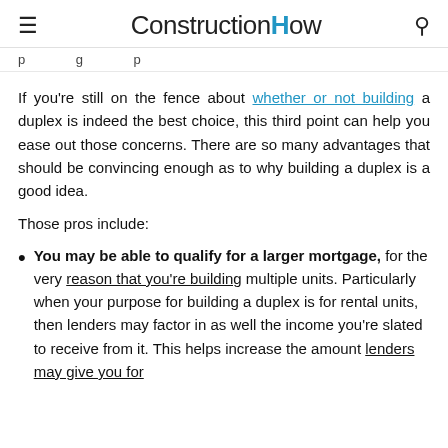ConstructionHow
p g p
If you're still on the fence about whether or not building a duplex is indeed the best choice, this third point can help you ease out those concerns. There are so many advantages that should be convincing enough as to why building a duplex is a good idea.
Those pros include:
You may be able to qualify for a larger mortgage, for the very reason that you're building multiple units. Particularly when your purpose for building a duplex is for rental units, then lenders may factor in as well the income you're slated to receive from it. This helps increase the amount lenders may give you for